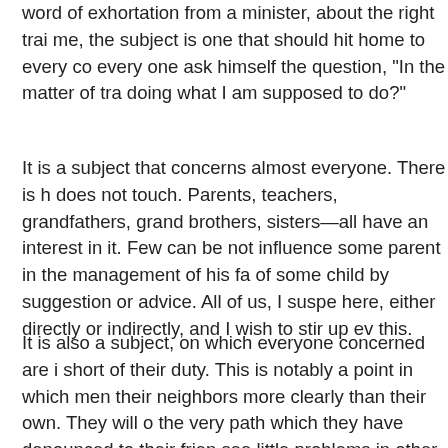word of exhortation from a minister, about the right trai me, the subject is one that should hit home to every co every one ask himself the question, "In the matter of tra doing what I am supposed to do?"
It is a subject that concerns almost everyone. There is h does not touch. Parents, teachers, grandfathers, grand brothers, sisters—all have an interest in it. Few can be not influence some parent in the management of his fa of some child by suggestion or advice. All of us, I suspe here, either directly or indirectly, and I wish to stir up ev this.
It is also a subject, on which everyone concerned are i short of their duty. This is notably a point in which men their neighbors more clearly than their own. They will o the very path which they have denounced to their frien see little problems in other people's families, and overlo